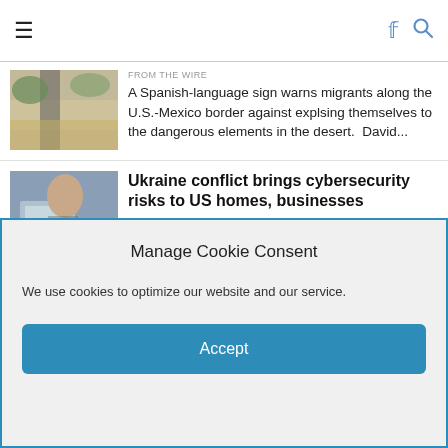≡ [hamburger menu] [facebook icon] [search icon]
A Spanish-language sign warns migrants along the U.S.-Mexico border against explsing themselves to the dangerous elements in the desert. David...
Ukraine conflict brings cybersecurity risks to US homes, businesses
FROM THE WIRE
[caption id="" align="alignright" width="348"] Regular Americans could find themselves targets of Russian cyberwarfare. Roberto Westbrook via Getty Images[/caption] by Richard Forno,...
ICE & THE BORDER WALL
Manage Cookie Consent
We use cookies to optimize our website and our service.
Accept